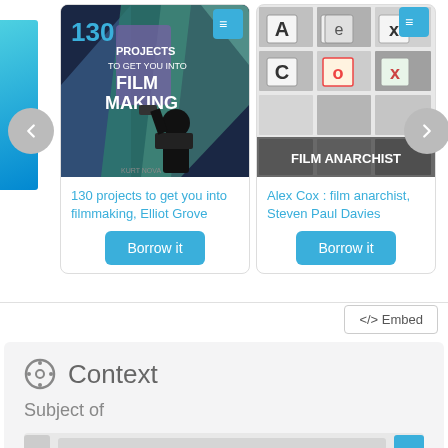[Figure (screenshot): Book carousel showing two books: '130 projects to get you into filmmaking, Elliot Grove' with cover image of person filming, and 'Alex Cox : film anarchist, Steven Paul Davies' with collage cover. Each has a 'Borrow it' button. Navigation arrows on left and right sides.]
130 projects to get you into filmmaking, Elliot Grove
Borrow it
Alex Cox : film anarchist, Steven Paul Davies
Borrow it
</> Embed
Context
Subject of